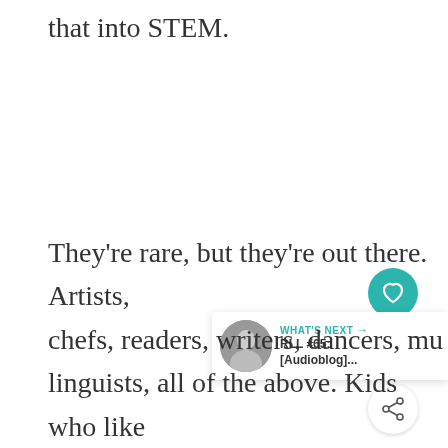that into STEM.
They're rare, but they're out there. Artists, chefs, readers, writers, dancers, musicians, linguists, all of the above. Kids who like